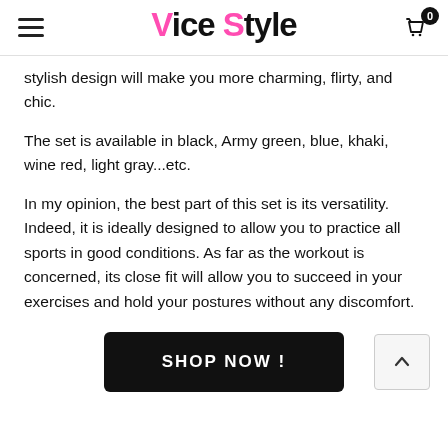Vice Style
stylish design will make you more charming, flirty, and chic.
The set is available in black, Army green, blue, khaki, wine red, light gray...etc.
In my opinion, the best part of this set is its versatility. Indeed, it is ideally designed to allow you to practice all sports in good conditions. As far as the workout is concerned, its close fit will allow you to succeed in your exercises and hold your postures without any discomfort.
[Figure (other): SHOP NOW! button and back-to-top arrow button]